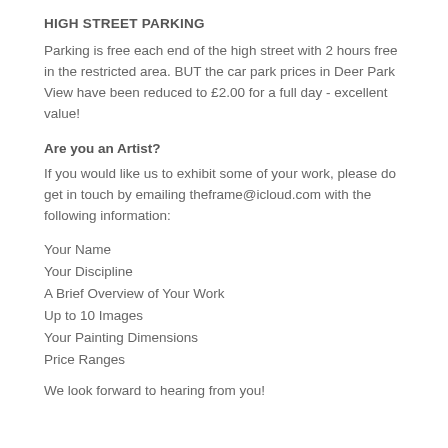HIGH STREET PARKING
Parking is free each end of the high street with 2 hours free in the restricted area. BUT the car park prices in Deer Park View have been reduced to £2.00 for a full day - excellent value!
Are you an Artist?
If you would like us to exhibit some of your work, please do get in touch by emailing theframe@icloud.com with the following information:
Your Name
Your Discipline
A Brief Overview of Your Work
Up to 10 Images
Your Painting Dimensions
Price Ranges
We look forward to hearing from you!